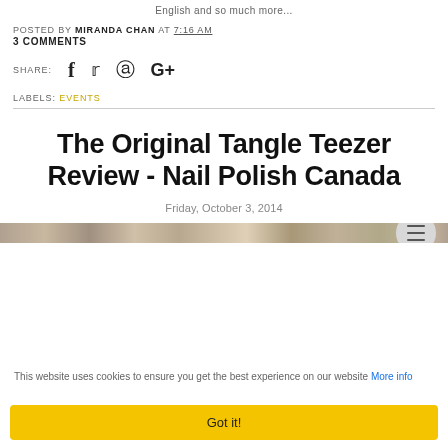English and so much more...
POSTED BY MIRANDA CHAN AT 7:16 AM
3 COMMENTS
SHARE: [social icons: Facebook, Twitter, Pinterest, Google+]
LABELS: EVENTS
The Original Tangle Teezer Review - Nail Polish Canada
Friday, October 3, 2014
[Figure (photo): Top edge of a product image strip]
This website uses cookies to ensure you get the best experience on our website More info
Got it!